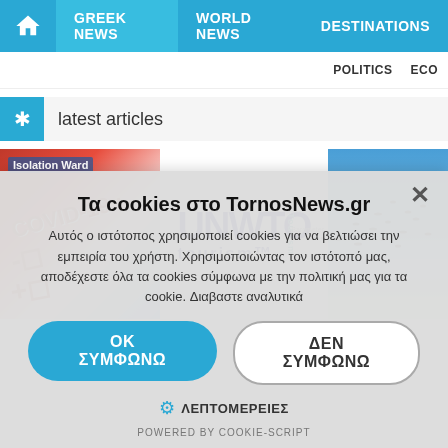GREEK NEWS | WORLD NEWS | DESTINATIONS
latest articles
[Figure (photo): COVID-19 test tube with Isolation Ward sign in background]
[Figure (logo): UNWTO tourism logo with Tourism text]
[Figure (photo): Flock of birds over water]
Τα cookies στο TornosNews.gr
Αυτός ο ιστότοπος χρησιμοποιεί cookies για να βελτιώσει την εμπειρία του χρήστη. Χρησιμοποιώντας τον ιστότοπό μας, αποδέχεστε όλα τα cookies σύμφωνα με την πολιτική μας για τα cookie. Διαβαστε αναλυτικά
OK ΣΥΜΦΩΝΩ
ΔΕΝ ΣΥΜΦΩΝΩ
ΛΕΠΤΟΜΕΡΕΙΕΣ
POWERED BY COOKIE-SCRIPT